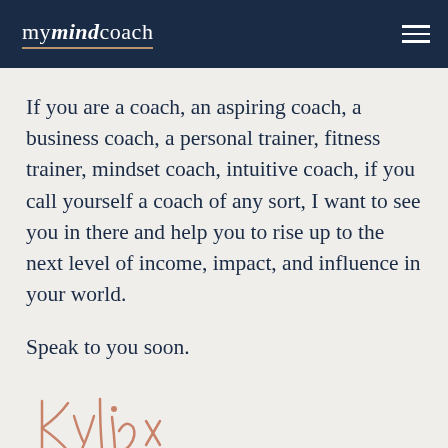mymindcoach
If you are a coach, an aspiring coach, a business coach, a personal trainer, fitness trainer, mindset coach, intuitive coach, if you call yourself a coach of any sort, I want to see you in there and help you to rise up to the next level of income, impact, and influence in your world.
Speak to you soon.
[Figure (illustration): Handwritten cursive signature reading 'Kylie x' in rose/salmon color]